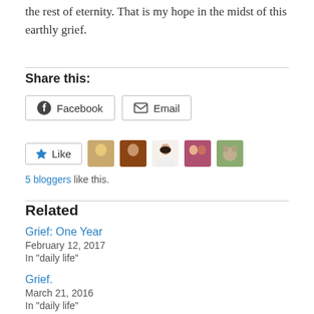the rest of eternity. That is my hope in the midst of this earthly grief.
Share this:
[Figure (other): Share buttons: Facebook and Email]
[Figure (other): Like button with 5 blogger avatars]
5 bloggers like this.
Related
Grief: One Year
February 12, 2017
In "daily life"
Grief.
March 21, 2016
In "daily life"